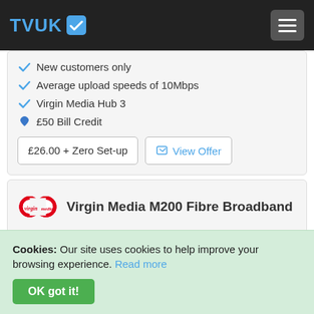TVUK
New customers only
Average upload speeds of 10Mbps
Virgin Media Hub 3
£50 Bill Credit
£26.00 + Zero Set-up
View Offer
Virgin Media M200 Fibre Broadband
213Mb Average Speed
New customers only
Average upload speeds of 20Mbps
Virgin Media Hub 3
£50 Bill Credit
Cookies: Our site uses cookies to help improve your browsing experience. Read more OK got it!